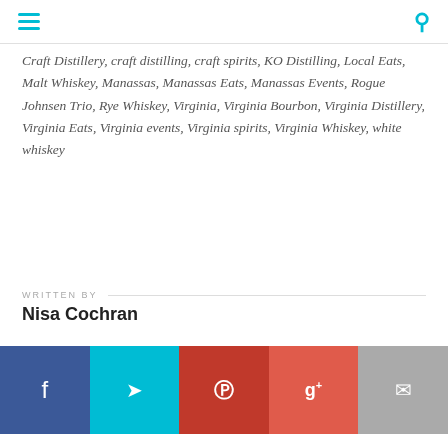navigation header with menu and search icons
Craft Distillery, craft distilling, craft spirits, KO Distilling, Local Eats, Malt Whiskey, Manassas, Manassas Eats, Manassas Events, Rogue Johnsen Trio, Rye Whiskey, Virginia, Virginia Bourbon, Virginia Distillery, Virginia Eats, Virginia events, Virginia spirits, Virginia Whiskey, white whiskey
WRITTEN BY
Nisa Cochran
[Figure (other): Social sharing bar with Facebook, Twitter, Pinterest, Google+, and Email buttons]